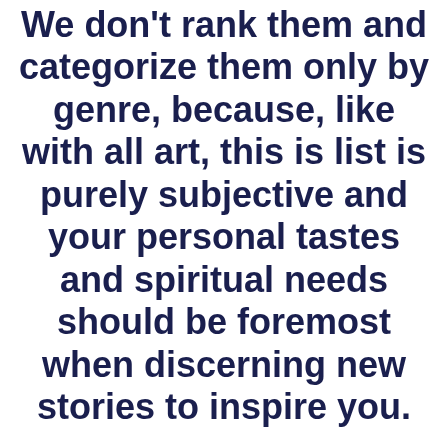We don't rank them and categorize them only by genre, because, like with all art, this is list is purely subjective and your personal tastes and spiritual needs should be foremost when discerning new stories to inspire you.
But if you're not sure where to begin this list (or our previous years' list) is a great place to